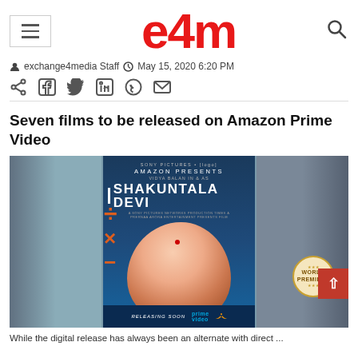e4m
exchange4media Staff  May 15, 2020 6:20 PM
Seven films to be released on Amazon Prime Video
[Figure (photo): Movie poster for Shakuntala Devi on Amazon Prime Video featuring actress Vidya Balan]
While the digital release has always been an alternate with direct ...